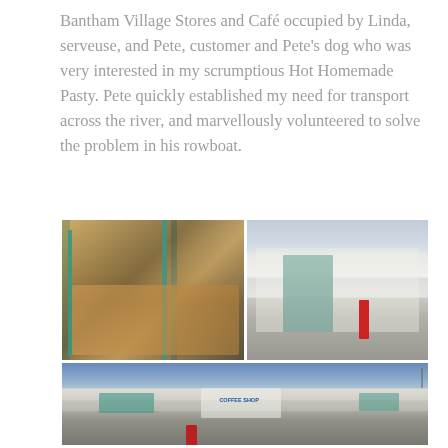Bantham Village Stores and Café occupied by Linda, serveuse,  and Pete, customer and Pete's dog who was very interested in my scrumptious  Hot Homemade  Pasty.  Pete quickly established my need for transport across the river, and marvellously volunteered to solve the problem in his rowboat.
[Figure (photo): Interior of Bantham Village Stores showing wooden shelving with goods, teal/green door frames, and a warm shop interior]
[Figure (photo): Street view of Bantham Village Stores exterior — white-painted building with teal garage door and red phone box, road in foreground]
[Figure (photo): Wider street view of Bantham village buildings including a Coffee Shop sign, another red phone box, and white-rendered buildings under blue sky]